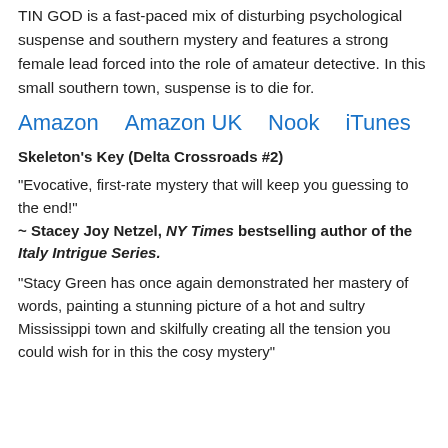TIN GOD is a fast-paced mix of disturbing psychological suspense and southern mystery and features a strong female lead forced into the role of amateur detective. In this small southern town, suspense is to die for.
Amazon   Amazon UK   Nook   iTunes
Skeleton's Key (Delta Crossroads #2)
“Evocative, first-rate mystery that will keep you guessing to the end!”
~ Stacey Joy Netzel, NY Times bestselling author of the Italy Intrigue Series.
“Stacy Green has once again demonstrated her mastery of words, painting a stunning picture of a hot and sultry Mississippi town and skilfully creating all the tension you could wish for in this the cosy mystery”